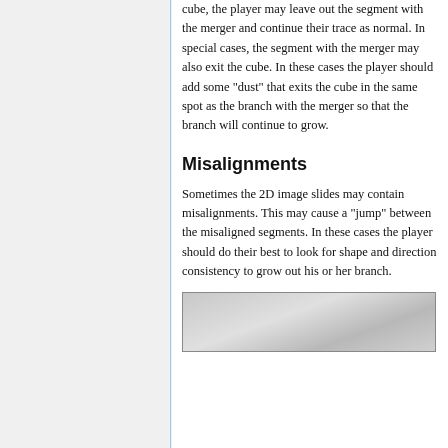cube, the player may leave out the segment with the merger and continue their trace as normal. In special cases, the segment with the merger may also exit the cube. In these cases the player should add some "dust" that exits the cube in the same spot as the branch with the merger so that the branch will continue to grow.
Misalignments
Sometimes the 2D image slides may contain misalignments. This may cause a "jump" between the misaligned segments. In these cases the player should do their best to look for shape and direction consistency to grow out his or her branch.
[Figure (photo): Grayscale microscopy image showing neural tissue or similar biological sample, partially visible at the bottom of the page.]